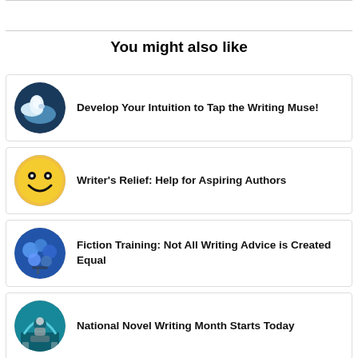You might also like
Develop Your Intuition to Tap the Writing Muse!
Writer's Relief: Help for Aspiring Authors
Fiction Training: Not All Writing Advice is Created Equal
National Novel Writing Month Starts Today
Celebrating Magic & Miracles in my